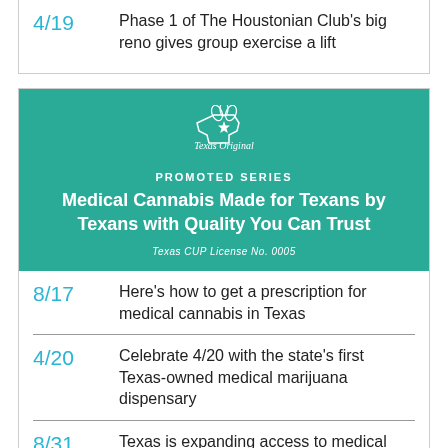4/19 Phase 1 of The Houstonian Club's big reno gives group exercise a lift
[Figure (other): Texas Original promoted series advertisement banner with teal background, logo, and headline: Medical Cannabis Made for Texans by Texans with Quality You Can Trust. Texas CUP License No. 0005.]
8/17 Here's how to get a prescription for medical cannabis in Texas
4/20 Celebrate 4/20 with the state's first Texas-owned medical marijuana dispensary
8/31 Texas is expanding access to medical marijuana. Do you qualify?